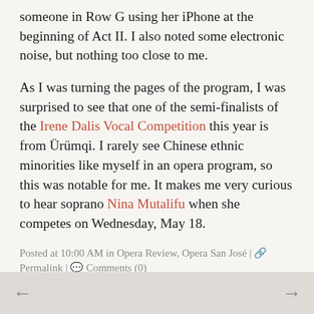someone in Row G using her iPhone at the beginning of Act II. I also noted some electronic noise, but nothing too close to me.
As I was turning the pages of the program, I was surprised to see that one of the semi-finalists of the Irene Dalis Vocal Competition this year is from Ürümqi. I rarely see Chinese ethnic minorities like myself in an opera program, so this was notable for me. It makes me very curious to hear soprano Nina Mutalifu when she competes on Wednesday, May 18.
Posted at 10:00 AM in Opera Review, Opera San José | Permalink | Comments (0)